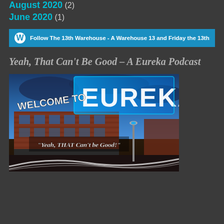August 2020 (2)
June 2020 (1)
Follow The 13th Warehouse - A Warehouse 13 and Friday the 13th:The
Yeah, That Can't Be Good – A Eureka Podcast
[Figure (photo): Welcome to Eureka sign over a brick building with the text 'Yeah, THAT Can't be Good!' overlaid]
https://eurekarewatch.com